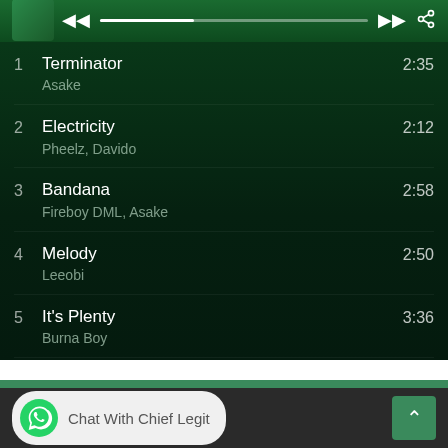[Figure (screenshot): Music player top bar with album thumbnail, previous button, progress bar, next button, and share icon on green background]
1  Terminator  2:35
   Asake
2  Electricity  2:12
   Pheelz, Davido
3  Bandana  2:58
   Fireboy DML, Asake
4  Melody  2:50
   Leeobi
5  It's Plenty  3:36
   Burna Boy
6  Peace Be Unto You (PBUY)  2:33
   Asake
Chat With Chief Legit